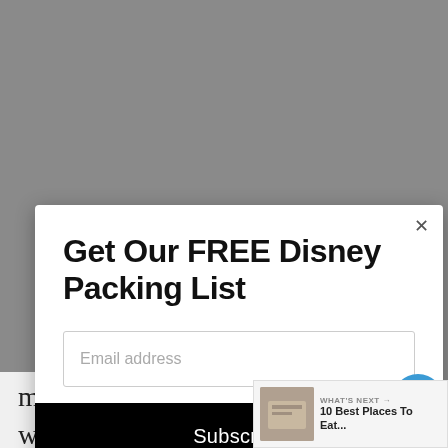[Figure (screenshot): Gray background behind a modal popup dialog]
Get Our FREE Disney Packing List
Email address
Subscribe
menu and are wondering how they deal with allergies, the answer is FANTASTICALLY! Please don't worry! If
12
WHAT'S NEXT → 10 Best Places To Eat...